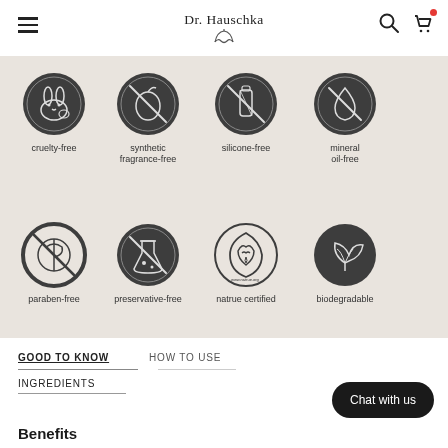Dr. Hauschka
[Figure (infographic): Eight certification icons in a 4x2 grid on a beige background. Row 1: cruelty-free (rabbit icon), synthetic fragrance-free (fruit icon), silicone-free (tube icon), mineral oil-free (drop icon). Row 2: paraben-free (crossed icon), preservative-free (flask icon), natrue certified (certified seal), biodegradable (leaves icon).]
GOOD TO KNOW
HOW TO USE
INGREDIENTS
Chat with us
Benefits